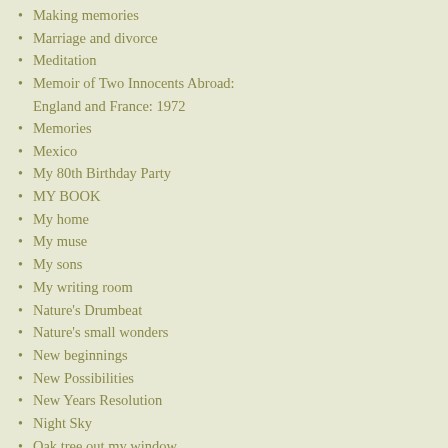Making memories
Marriage and divorce
Meditation
Memoir of Two Innocents Abroad: England and France: 1972
Memories
Mexico
My 80th Birthday Party
MY BOOK
My home
My muse
My sons
My writing room
Nature's Drumbeat
Nature's small wonders
New beginnings
New Possibilities
New Years Resolution
Night Sky
Oak tree out my window
Old technology
Pain
Patio Beneath My Window
Peace
Poetry